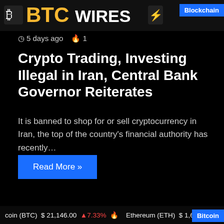BTC WIRES — Blockchain
5 days ago  🔥 1
Crypto Trading, Investing Illegal in Iran, Central Bank Governor Reiterates
It is banned to shop for or sell cryptocurrency in Iran, the top of the country's financial authority has recently…
Read More »
coin (BTC)  $ 21,146.00  ▲7.33%  🔥  Ethereum (ETH)  $ 1,6…  110…  Bitcoin